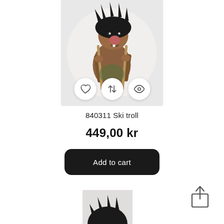[Figure (photo): A troll figurine with black spiky hair, a large nose, holding wooden ski poles, photographed against a white fluffy background. Three circular action buttons (heart/wishlist, compare arrows, eye/view) are overlaid at the bottom of the image.]
840311 Ski troll
449,00 kr
Add to cart
[Figure (photo): Partial view of a second troll figurine at the bottom of the page.]
[Figure (other): Share/upload icon in the bottom right corner.]